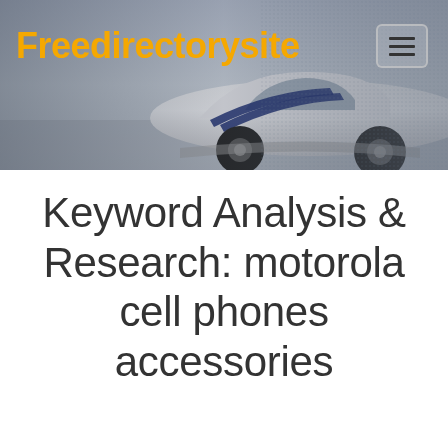[Figure (screenshot): Website header banner showing a white sports car with blue racing stripes on a grey background, with an orange 'Freedirectorysite' logo on the left and a hamburger menu icon on the right]
Keyword Analysis & Research: motorola cell phones accessories